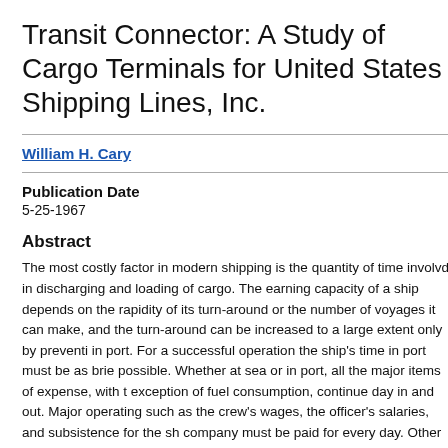Transit Connector: A Study of Cargo Terminals for United States Shipping Lines, Inc.
William H. Cary
Publication Date
5-25-1967
Abstract
The most costly factor in modern shipping is the quantity of time involved in discharging and loading of cargo. The earning capacity of a ship depends on the rapidity of its turn-around or the number of voyages it can make, and the turn-around can be increased to a large extent only by preventing in port. For a successful operation the ship's time in port must be as brief as possible. Whether at sea or in port, all the major items of expense, with the exception of fuel consumption, continue day in and out. Major operating such as the crew's wages, the officer's salaries, and subsistence for the ship company must be paid for every day. Other items of expense while the ship is in port include the fuel required to operate winches, dynamos, and other machinery on board, and to keep the ship heated in the winter. Each day represents a loss of money with no compensating income from freight moneys. In addition, the ship's company must be concerned with the overhead charges of insurance